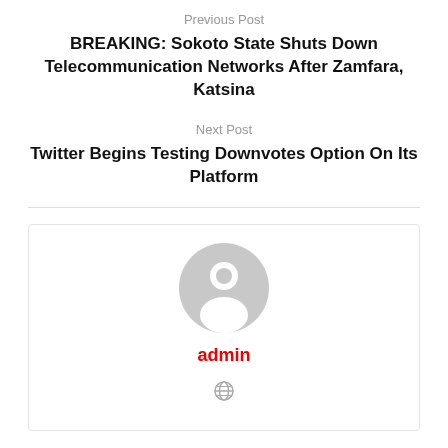Previous Post
BREAKING: Sokoto State Shuts Down Telecommunication Networks After Zamfara, Katsina
Next Post
Twitter Begins Testing Downvotes Option On Its Platform
[Figure (illustration): Author profile box with generic grey avatar icon, username 'admin' in red, and a small globe/website icon below]
admin